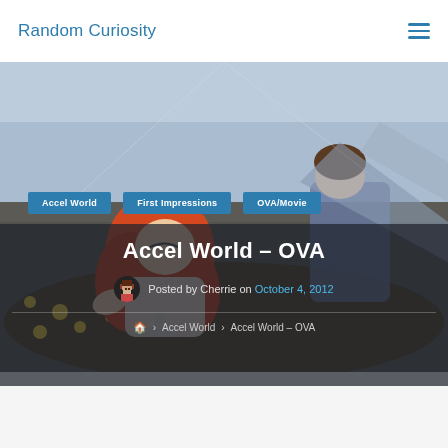Random Curiosity
[Figure (illustration): Anime illustration showing characters from Accel World, with a girl with red/orange hair lying down among yellow flowers, and other characters in the background with a dark mechanical/scenic background.]
Accel World
First Impressions
OVA/Movie
Accel World – OVA
Posted by Cherrie on October 4, 2012
🏠 › Accel World › Accel World – OVA